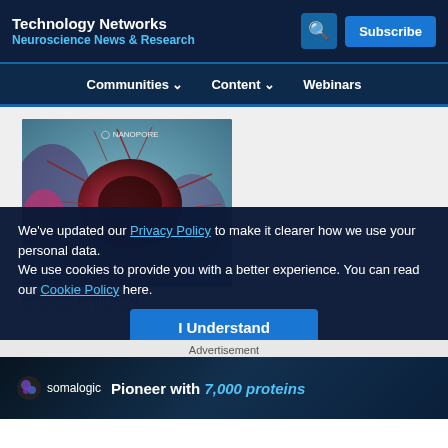Technology Networks
Neuroscience News & Research
Communities  Content  Webinars
[Figure (photo): Microscopic image of a cell or biological structure with dark reddish filaments against a blueish background, with Oxford Nanopore watermark]
We've updated our Privacy Policy to make it clearer how we use your personal data.
We use cookies to provide you with a better experience. You can read our Cookie Policy here.
I Understand
Nanopore Sequencing
21 Sep 2022 at 5:00 PM (-00:00)
Advertisement
[Figure (photo): Somalogic advertisement banner: Pioneer with 7,000 proteins]